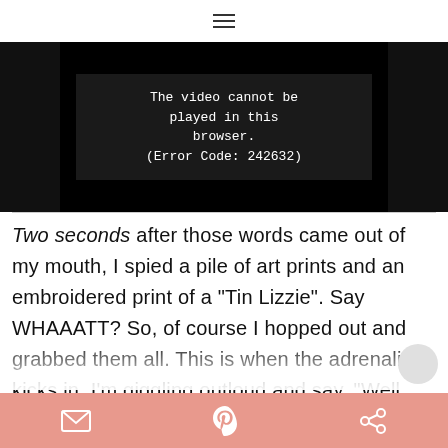☰
[Figure (screenshot): Video player showing error message: The video cannot be played in this browser. (Error Code: 242632)]
Two seconds after those words came out of my mouth, I spied a pile of art prints and an embroidered print of a "Tin Lizzie". Say WHAAATT? So, of course I hopped out and grabbed them all. This is when the adrenaline kicks in. I'm giggling outloud and say, "Well, that was fun and
✉ Pinterest Share